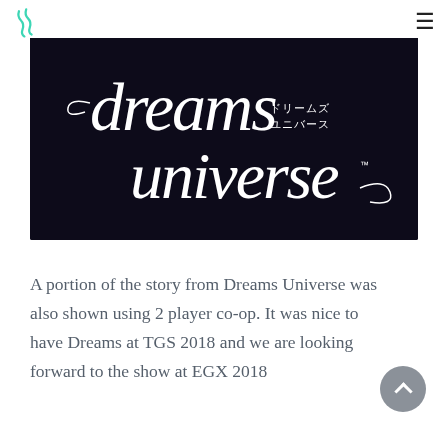Dreams Universe — website header with logo and hamburger menu
[Figure (logo): Dreams Universe logo on dark background. Handwritten script text reading 'dreams universe' in white with Japanese characters 'ドリームズ ユニバース' to the right of 'dreams'.]
A portion of the story from Dreams Universe was also shown using 2 player co-op. It was nice to have Dreams at TGS 2018 and we are looking forward to the show at EGX 2018